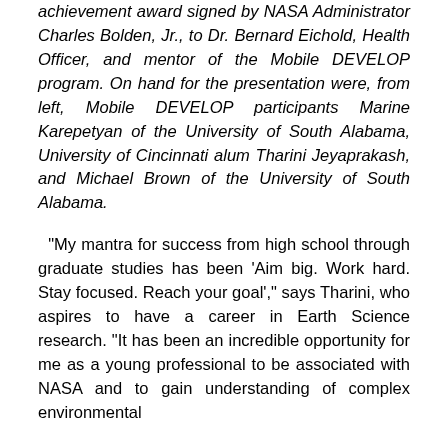achievement award signed by NASA Administrator Charles Bolden, Jr., to Dr. Bernard Eichold, Health Officer, and mentor of the Mobile DEVELOP program. On hand for the presentation were, from left, Mobile DEVELOP participants Marine Karepetyan of the University of South Alabama, University of Cincinnati alum Tharini Jeyaprakash, and Michael Brown of the University of South Alabama.
“My mantra for success from high school through graduate studies has been ‘Aim big. Work hard. Stay focused. Reach your goal’,” says Tharini, who aspires to have a career in Earth Science research. “It has been an incredible opportunity for me as a young professional to be associated with NASA and to gain understanding of complex environmental